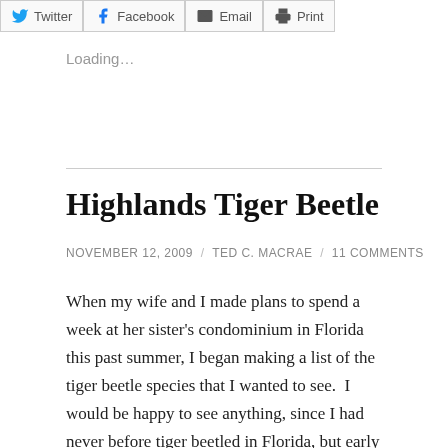Twitter | Facebook | Email | Print
Loading...
Highlands Tiger Beetle
NOVEMBER 12, 2009 / TED C. MACRAE / 11 COMMENTS
When my wife and I made plans to spend a week at her sister's condominium in Florida this past summer, I began making a list of the tiger beetle species that I wanted to see.  I would be happy to see anything, since I had never before tiger beetled in Florida, but early August was looking to be on the late side for many things.  In addition, since this was a family vacation, I